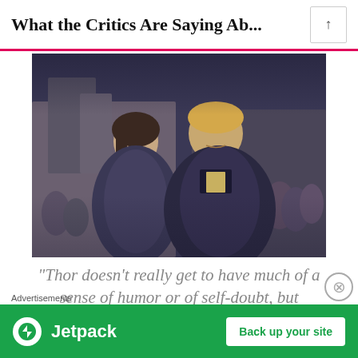What the Critics Are Saying Ab…
[Figure (photo): Two actors in medieval-fantasy costumes (cloaks/capes) standing together in an ornate setting, scene from Thor movie]
“Thor doesn’t really get to have much of a sense of humor or of self-doubt, but Hemsworth manages to make this old-school, square-jawed titan fun and
Advertisements
[Figure (logo): Jetpack advertisement banner with green background, Jetpack logo and 'Back up your site' button]